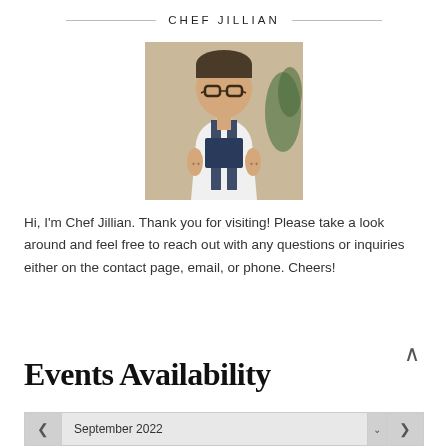CHEF JILLIAN
[Figure (photo): Portrait photo of Chef Jillian wearing glasses and denim overalls over a white t-shirt, with tattoos visible on her arms, standing in front of a beige wall with a plant visible on the right.]
Hi, I'm Chef Jillian. Thank you for visiting! Please take a look around and feel free to reach out with any questions or inquiries either on the contact page, email, or phone. Cheers!
Events Availability
September 2022